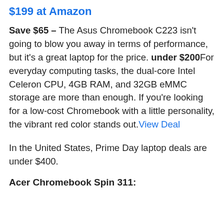$199 at Amazon
Save $65 – The Asus Chromebook C223 isn't going to blow you away in terms of performance, but it's a great laptop for the price. under $200For everyday computing tasks, the dual-core Intel Celeron CPU, 4GB RAM, and 32GB eMMC storage are more than enough. If you're looking for a low-cost Chromebook with a little personality, the vibrant red color stands out.View Deal
In the United States, Prime Day laptop deals are under $400.
Acer Chromebook Spin 311: